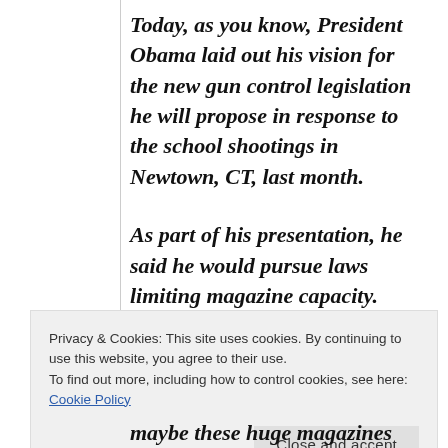Today, as you know, President Obama laid out his vision for the new gun control legislation he will propose in response to the school shootings in Newtown, CT, last month.
As part of his presentation, he said he would pursue laws limiting magazine capacity.
Privacy & Cookies: This site uses cookies. By continuing to use this website, you agree to their use.
To find out more, including how to control cookies, see here: Cookie Policy
Close and accept
maybe these huge magazines